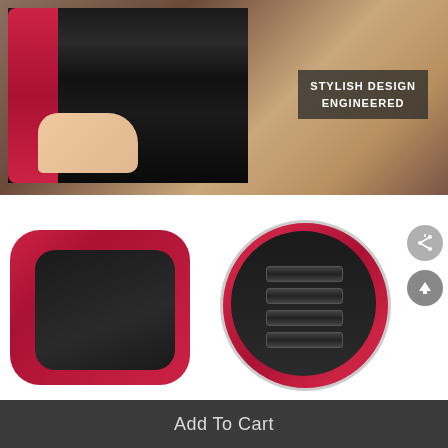[Figure (photo): Product lifestyle image showing a red and black hair straightener being used on black hair, with text overlay reading 'STYLISH DESIGN ENGINEERED' on a dark background, combined with a close-up of hair being straightened and a background of brown wavy hair]
[Figure (photo): Product detail image showing the red and black hair straightener body from above, and a circular zoomed inset showing the temperature control buttons/settings on the device. Two UI buttons (share and scroll-to-top) visible on right side.]
STYLISH DESIGN
ENGINEERED
Add To Cart